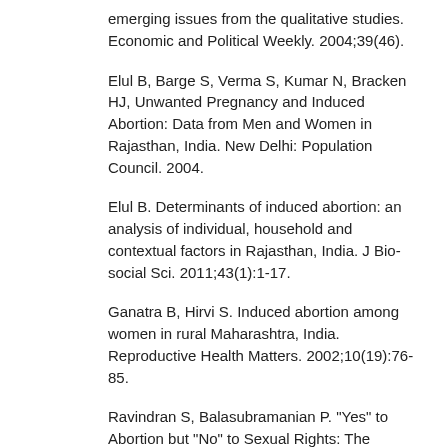emerging issues from the qualitative studies. Economic and Political Weekly. 2004;39(46).
Elul B, Barge S, Verma S, Kumar N, Bracken HJ, Unwanted Pregnancy and Induced Abortion: Data from Men and Women in Rajasthan, India. New Delhi: Population Council. 2004.
Elul B. Determinants of induced abortion: an analysis of individual, household and contextual factors in Rajasthan, India. J Bio-social Sci. 2011;43(1):1-17.
Ganatra B, Hirvi S. Induced abortion among women in rural Maharashtra, India. Reproductive Health Matters. 2002;10(19):76-85.
Ravindran S, Balasubramanian P. "Yes" to Abortion but "No" to Sexual Rights: The Paradoxical Reality of Married Women in Rural Tamil Nadu, India. Sexuality, Rights and Social Justice. 2004;12(23):88-99.
Jejeebhoy SJ, Kalyanwala S, Zavier AJF, Kumar R, Jhaet N. Experience seeking abortion among